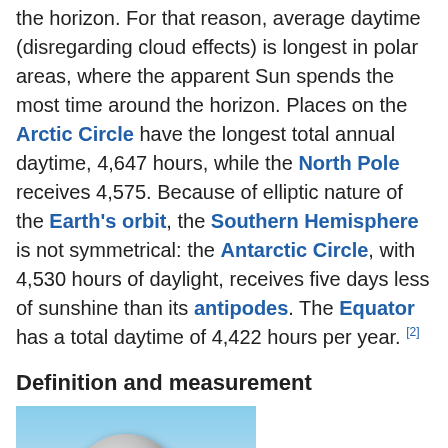the horizon. For that reason, average daytime (disregarding cloud effects) is longest in polar areas, where the apparent Sun spends the most time around the horizon. Places on the Arctic Circle have the longest total annual daytime, 4,647 hours, while the North Pole receives 4,575. Because of elliptic nature of the Earth's orbit, the Southern Hemisphere is not symmetrical: the Antarctic Circle, with 4,530 hours of daylight, receives five days less of sunshine than its antipodes. The Equator has a total daytime of 4,422 hours per year. [2]
Definition and measurement
[Figure (photo): A Campbell-Stokes recorder (sunshine recorder), a large metallic sphere mounted on a bracket, photographed outdoors with grass and trees in the background. A person in a hard hat is visible to the right.]